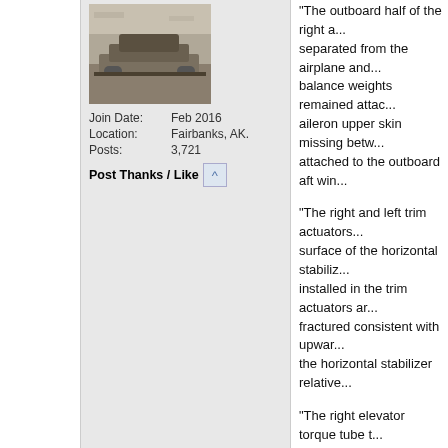[Figure (photo): Black and white profile photo of a user, possibly showing a military vehicle or aircraft on the ground.]
Join Date: Feb 2016
Location: Fairbanks, AK.
Posts: 3,721
Post Thanks / Like [arrow button]
"The outboard half of the right a... separated from the airplane and... balance weights remained attac... aileron upper skin missing betw... attached to the outboard aft win...
"The right and left trim actuators... surface of the horizontal stabiliz... installed in the trim actuators ar... fractured consistent with upwar... the horizontal stabilizer relative...
"The right elevator torque tube t... from the center bell crank with t... the right elevator deflected trai... elevator"
At the end of flight the aircraft i... closely met Vno (139 KIAS) and... the Landes LW-3600 wheel pen... are applied because that model... potentially stretch the bungees ... drag and control issues.
Now the why may be found.
Gary